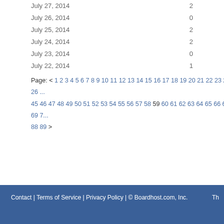July 27, 2014  2
July 26, 2014  0
July 25, 2014  2
July 24, 2014  2
July 23, 2014  0
July 22, 2014  1
Page: < 1 2 3 4 5 6 7 8 9 10 11 12 13 14 15 16 17 18 19 20 21 22 23 24 25 26 ... 45 46 47 48 49 50 51 52 53 54 55 56 57 58 59 60 61 62 63 64 65 66 67 68 69 7... 88 89 >
Contact | Terms of Service | Privacy Policy | © Boardhost.com, Inc.  Th...